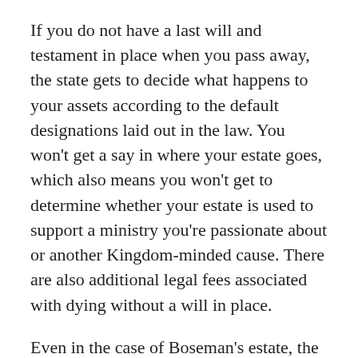If you do not have a last will and testament in place when you pass away, the state gets to decide what happens to your assets according to the default designations laid out in the law. You won't get a say in where your estate goes, which also means you won't get to determine whether your estate is used to support a ministry you're passionate about or another Kingdom-minded cause. There are also additional legal fees associated with dying without a will in place.
Even in the case of Boseman's estate, the lack of a will made everything more complicated. As a baptized Christian who remained strong in his faith, he may have wanted to make a donation to his church or a ministry, but the lack of a will makes that impossible to confirm. Starting specifically, what you would like to...